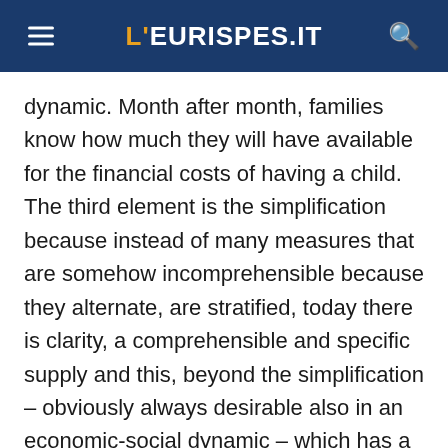L'EURISPES.IT
dynamic. Month after month, families know how much they will have available for the financial costs of having a child. The third element is the simplification because instead of many measures that are somehow incomprehensible because they alternate, are stratified, today there is clarity, a comprehensible and specific supply and this, beyond the simplification – obviously always desirable also in an economic-social dynamic – which has a clear advantage, together with the structure, the possibility of being a measure that is projected in a temporal becoming and which for all this it is characterised as an investment. When